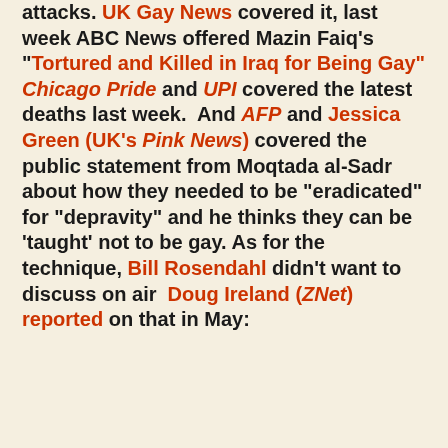attacks. UK Gay News covered it, last week ABC News offered Mazin Faiq's "Tortured and Killed in Iraq for Being Gay" Chicago Pride and UPI covered the latest deaths last week. And AFP and Jessica Green (UK's Pink News) covered the public statement from Moqtada al-Sadr about how they needed to be "eradicated" for "depravity" and he thinks they can be 'taught' not to be gay. As for the technique, Bill Rosendahl didn't want to discuss on air Doug Ireland (ZNet) reported on that in May:
As the murder campaign targeting Iraqi gays intensifies, a leading Arabic television network last week revealed the use of a horrifying new form of lethal torture against Iraqi gay men -- anti-gay Shiite death squads are sealing their anuses with a powerful glue, then inducing diarrhea, which leads to a painful and agonizing death. The use of this stomach-turning new